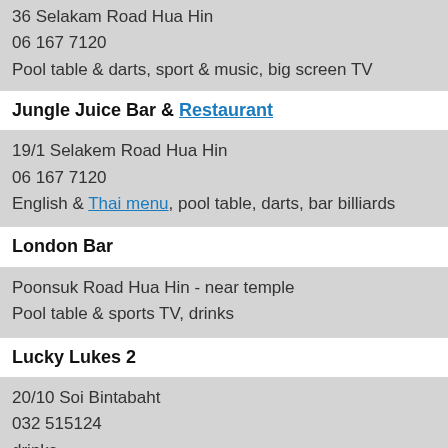36 Selakam Road Hua Hin
06 167 7120
Pool table & darts, sport & music, big screen TV
Jungle Juice Bar & Restaurant
19/1 Selakem Road Hua Hin
06 167 7120
English & Thai menu, pool table, darts, bar billiards
London Bar
Poonsuk Road Hua Hin - near temple
Pool table & sports TV, drinks
Lucky Lukes 2
20/10 Soi Bintabaht
032 515124
drinks
Nervana
Poolsuk Rd
Giant TV screen, pool and darts , drinks
Red Indian
Hua Hin Bazaar, opposite the Sofitel Hotel
drinks